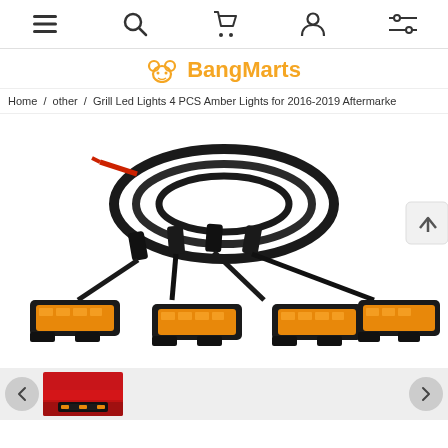Navigation bar with menu, search, cart, account, and filter icons
BangMarts
Home / other / Grill Led Lights 4 PCS Amber Lights for 2016-2019 Aftermarke
[Figure (photo): Product photo showing 4 amber LED grill lights with wiring harness]
[Figure (photo): Thumbnail of a red vehicle hood with grill lights installed]